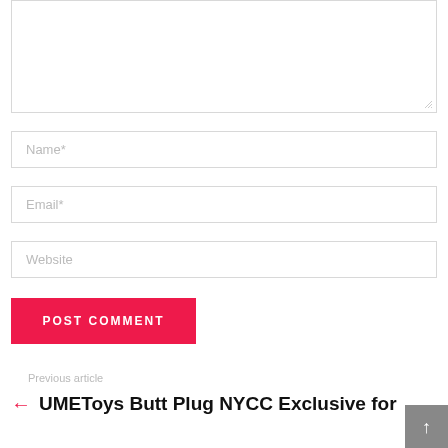[Figure (screenshot): Textarea input box (comment field) with resize handle at bottom-right]
Name*
Email*
Website
POST COMMENT
Previous article
← UMEToys Butt Plug NYCC Exclusive for